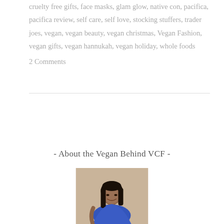cruelty free gifts, face masks, glam glow, native con, pacifica, pacifica review, self care, self love, stocking stuffers, trader joes, vegan, vegan beauty, vegan christmas, Vegan Fashion, vegan gifts, vegan hannukah, vegan holiday, whole foods
2 Comments
- About the Vegan Behind VCF -
[Figure (photo): Portrait photo of a woman with dark hair wearing a blue top, seated against a tan/beige background, smiling at the camera]